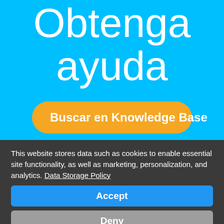Obtenga ayuda
[Figure (other): Orange rounded button labeled 'Buscar en Knowledge Base' on blue background]
This website stores data such as cookies to enable essential site functionality, as well as marketing, personalization, and analytics. Data Storage Policy
[Figure (other): Blue 'Accept' button]
[Figure (other): Gray 'Deny' button]